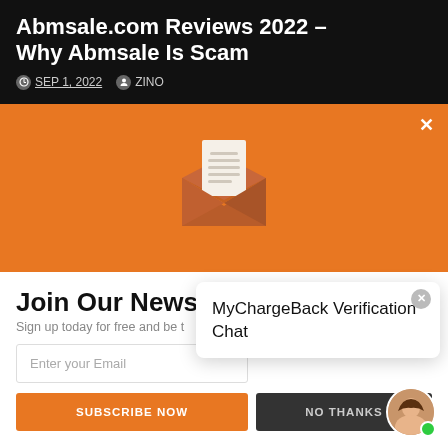Abmsale.com Reviews 2022 – Why Abmsale Is Scam
SEP 1, 2022   ZINO
[Figure (illustration): Open envelope with letter icon on orange background]
Join Our Newsletter
Sign up today for free and be
Enter your Email
SUBSCRIBE NOW
NO THANKS
MyChargeBack Verification Chat